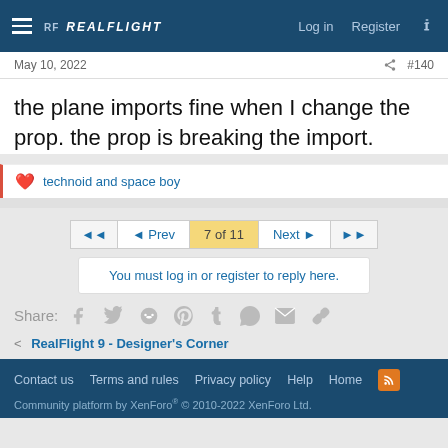RF REALFLIGHT | Log in | Register
May 10, 2022  #140
the plane imports fine when I change the prop. the prop is breaking the import.
❤️ technoid and space boy
◄◄  ◄ Prev  7 of 11  Next ►  ►►
You must log in or register to reply here.
Share:
< RealFlight 9 - Designer's Corner
Contact us  Terms and rules  Privacy policy  Help  Home  Community platform by XenForo® © 2010-2022 XenForo Ltd.